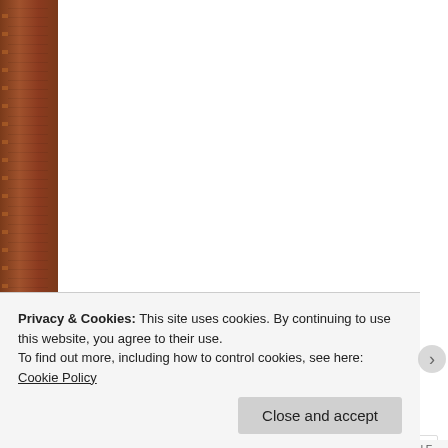Posted by Gust MEES on January 5, 2020 in 21st Century Skills, 21st-Century-Teach, Analyzing, Autodidact, Better Learning, Better Learning about ICT, Better Teaching, Collaboration, Collaborative Learning, Collective Intelligence, Competency, Concept, Curation, Digital CitizenShip, Digital Footprint, Digital Intelligence, Digital Lëtzebuerg, Education, Education 4.0, eLeadership, eLearning, Emotional Intelligence, EQ, eSkills, Global, Global Collaboration, growth mindset, Holistic view of EDUcation in the, Instructors, Leadership, Learning By Doing, Learning to Learn, Luxembourg, maker, M EDU, Motivation, Naivety, Not ONLY rights but also responsibilities, Open Mind, Pers PLN, PracTICE, Proactive Thinking, Professional Development, Professional EDUcat...
Privacy & Cookies: This site uses cookies. By continuing to use this website, you agree to their use. To find out more, including how to control cookies, see here: Cookie Policy